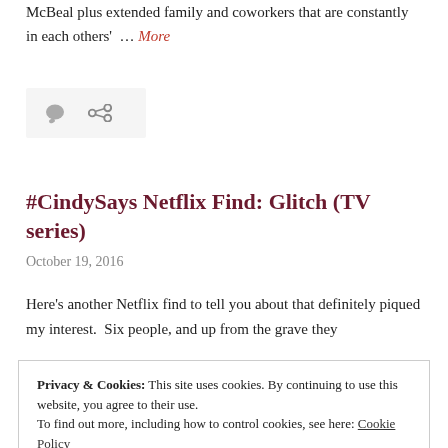McBeal plus extended family and coworkers that are constantly in each others' … More
[Figure (other): Comment and link/share icons on a light grey background bar]
#CindySays Netflix Find: Glitch (TV series)
October 19, 2016
Here's another Netflix find to tell you about that definitely piqued my interest.  Six people, and up from the grave they
Privacy & Cookies: This site uses cookies. By continuing to use this website, you agree to their use. To find out more, including how to control cookies, see here: Cookie Policy Close and accept